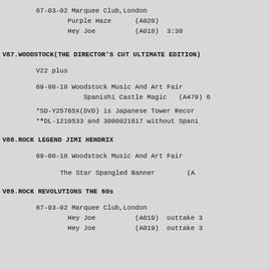67-03-02 Marquee Club,London
    Purple Haze      (A020)
    Hey Joe          (A018)  3:30
V87.WOODSTOCK(THE DIRECTOR'S CUT ULTIMATE EDITION)
V22 plus
69-08-18 Woodstock Music And Art Fair
        Spanishi Castle Magic   (A479) 6
*SD-Y25765X(DVD) is Japanese Tower Recor
**DL-1210533 and 3000021617 without Spani
V88.ROCK LEGEND JIMI HENDRIX
69-08-18 Woodstock Music And Art Fair
The Star Spangled Banner        (A
V89.ROCK REVOLUTIONS THE 60s
67-03-02 Marquee Club,London
        Hey Joe          (A019)  outtake 3
        Hey Joe          (A019)  outtake 3